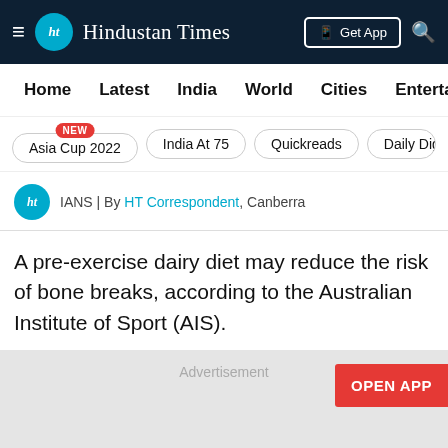Hindustan Times
Home | Latest | India | World | Cities | Entertainment
Asia Cup 2022 NEW | India At 75 | Quickreads | Daily Dige
IANS | By HT Correspondent, Canberra
A pre-exercise dairy diet may reduce the risk of bone breaks, according to the Australian Institute of Sport (AIS).
[Figure (other): Advertisement placeholder area with OPEN APP button]